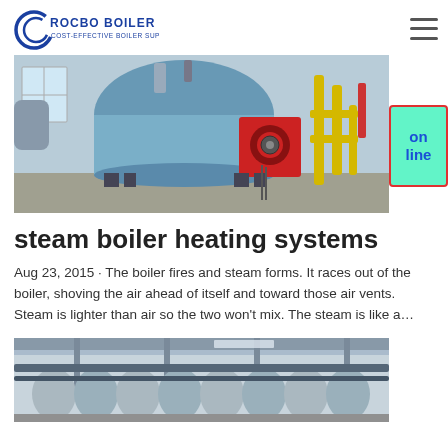ROCBO BOILER — COST-EFFECTIVE BOILER SUPPLIER
[Figure (photo): Industrial steam boiler with blue cylindrical tank, red burner unit, yellow pipes and equipment in a factory setting]
steam boiler heating systems
Aug 23, 2015 · The boiler fires and steam forms. It races out of the boiler, shoving the air ahead of itself and toward those air vents. Steam is lighter than air so the two won't mix. The steam is like a…
[Figure (photo): Industrial boiler equipment with cylindrical components, pipes and structures in a factory or warehouse setting]